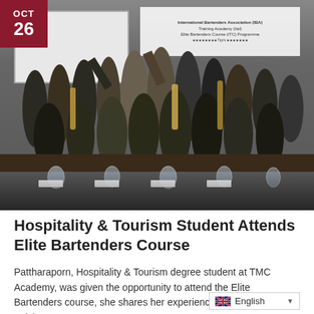[Figure (photo): Group photo of hospitality and bartending students at an International Bartenders Association (IBA) Training Academy event. Participants are posed around a conference table holding bottles and drinks. A banner in the background reads International Bartenders Association. Date badge shows OCT 26 in dark red.]
Hospitality & Tourism Student Attends Elite Bartenders Course
Pattharaporn, Hospitality & Tourism degree student at TMC Academy, was given the opportunity to attend the Elite Bartenders course, she shares her experience with us in this article.